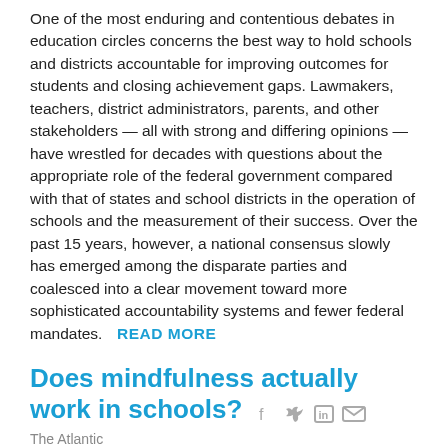One of the most enduring and contentious debates in education circles concerns the best way to hold schools and districts accountable for improving outcomes for students and closing achievement gaps. Lawmakers, teachers, district administrators, parents, and other stakeholders — all with strong and differing opinions — have wrestled for decades with questions about the appropriate role of the federal government compared with that of states and school districts in the operation of schools and the measurement of their success. Over the past 15 years, however, a national consensus slowly has emerged among the disparate parties and coalesced into a clear movement toward more sophisticated accountability systems and fewer federal mandates. READ MORE
Does mindfulness actually work in schools?
The Atlantic
A research team in Chicago has spent a year studying whether students who are taught to be in touch with their emotions do better academically. And they say the initial results are promising. Perhaps counterintuitively, when kids take a break from a classroom lesson on the solar system to spend a quiet moment alone watching a three-minute nature video, or participate in a teacher-guided breathing exercise with their class after lunch, they seem to become better overall students.